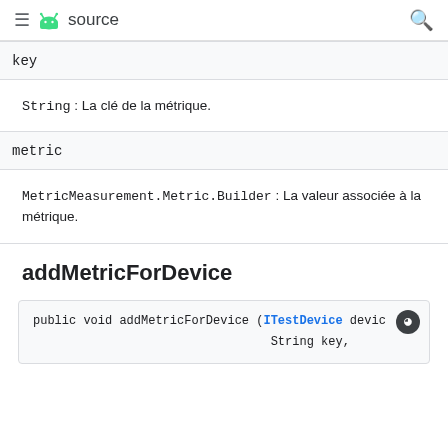≡ android source 🔍
key
String : La clé de la métrique.
metric
MetricMeasurement.Metric.Builder : La valeur associée à la métrique.
addMetricForDevice
public void addMetricForDevice (ITestDevice devic
    String key,